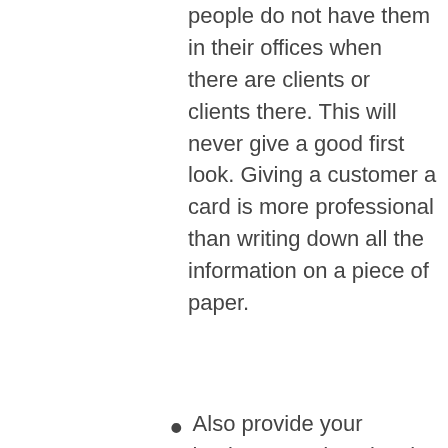people do not have them in their offices when there are clients or clients there. This will never give a good first look. Giving a customer a card is more professional than writing down all the information on a piece of paper.
[Figure (infographic): Social media share buttons: Facebook (blue circle with f), Google+ (red circle with g+), Twitter (blue circle with bird icon), Add/Share (dark circle with plus sign)]
Also provide your business cards to local